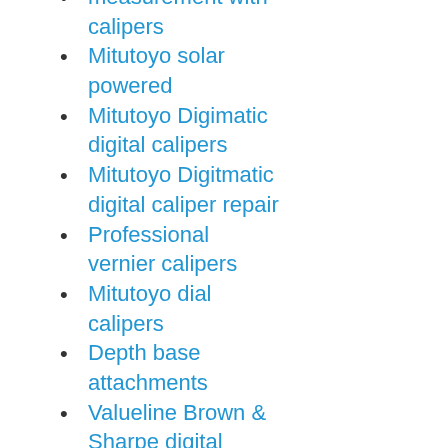measurement with calipers
Mitutoyo solar powered
Mitutoyo Digimatic digital calipers
Mitutoyo Digitmatic digital caliper repair
Professional vernier calipers
Mitutoyo dial calipers
Depth base attachments
Valueline Brown & Sharpe digital calipers
Starrett American Made calipers